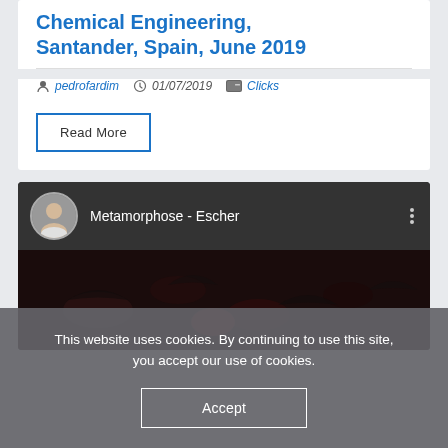Chemical Engineering, Santander, Spain, June 2019
pedrofardim  01/07/2019  Clicks
Read More
[Figure (screenshot): YouTube-style video card showing 'Metamorphose - Escher' with a circular avatar of a man, dark video thumbnail with bird/animal silhouettes, and a three-dot menu icon]
This website uses cookies. By continuing to use this site, you accept our use of cookies.
Accept